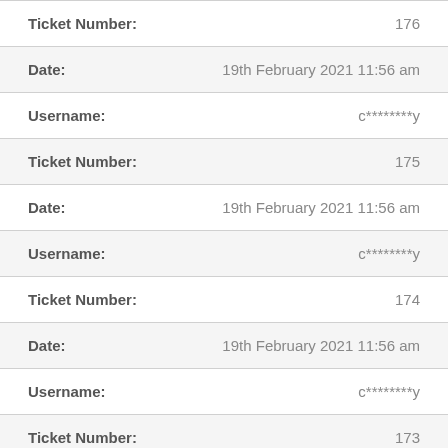| Field | Value |
| --- | --- |
| Ticket Number: | 176 |
| Date: | 19th February 2021 11:56 am |
| Username: | c********y |
| Ticket Number: | 175 |
| Date: | 19th February 2021 11:56 am |
| Username: | c********y |
| Ticket Number: | 174 |
| Date: | 19th February 2021 11:56 am |
| Username: | c********y |
| Ticket Number: | 173 |